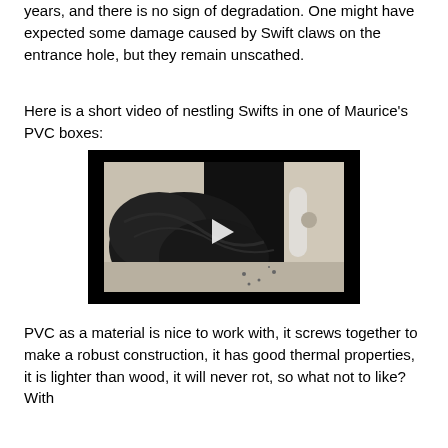years, and there is no sign of degradation. One might have expected some damage caused by Swift claws on the entrance hole, but they remain unscathed.
Here is a short video of nestling Swifts in one of Maurice's PVC boxes:
[Figure (screenshot): Video thumbnail showing nestling Swifts inside a PVC nest box, with a play button overlay. The image shows dark-feathered swift chicks inside a light-coloured box interior.]
PVC as a material is nice to work with, it screws together to make a robust construction, it has good thermal properties, it is lighter than wood, it will never rot, so what not to like? With